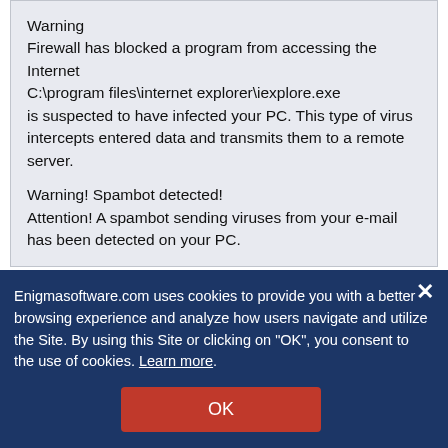Warning
Firewall has blocked a program from accessing the Internet
C:\program files\internet explorer\iexplore.exe
is suspected to have infected your PC. This type of virus intercepts entered data and transmits them to a remote server.

Warning! Spambot detected!
Attention! A spambot sending viruses from your e-mail has been detected on your PC.
Related Posts
'AppleCare and Warranty' Pop-Up Scam
Trojan.MacOS.Careto.A
Enigmasoftware.com uses cookies to provide you with a better browsing experience and analyze how users navigate and utilize the Site. By using this Site or clicking on "OK", you consent to the use of cookies. Learn more.